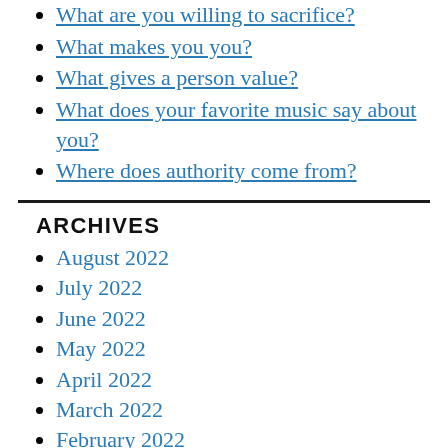What are you willing to sacrifice?
What makes you you?
What gives a person value?
What does your favorite music say about you?
Where does authority come from?
ARCHIVES
August 2022
July 2022
June 2022
May 2022
April 2022
March 2022
February 2022